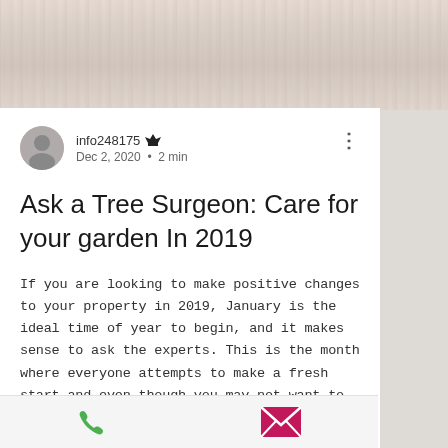[Figure (photo): Top banner showing wood plank texture background in light gray/white tones]
info248175 👑  Dec 2, 2020 • 2 min
Ask a Tree Surgeon: Care for your garden In 2019
If you are looking to make positive changes to your property in 2019, January is the ideal time of year to begin, and it makes sense to ask the experts. This is the month where everyone attempts to make a fresh start and even though you may not want to spend too long outdoors in January, you can create a platform that will ensure your garden area looks fantastic for the rest of the year. Make sure your garden area is
[Figure (infographic): Bottom toolbar with green phone icon and pink/magenta email envelope icon]